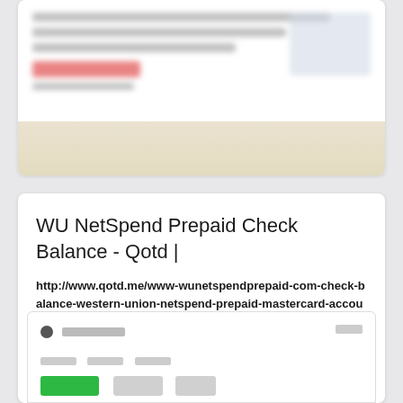[Figure (screenshot): Partially visible blurred web page screenshot at top of the image]
WU NetSpend Prepaid Check Balance - Qotd |
http://www.qotd.me/www-wunetspendprepaid-com-check-balance-western-union-netspend-prepaid-mastercard-account/
www.wunetspendprepaid.com check balance – Western Union NetSpend Prepaid MasterCard Account · 1-720-332-1000 · P.O. Box 6036. Englewood, CO 80112.
[Figure (screenshot): Partially visible website screenshot at the bottom showing a green button and navigation elements]